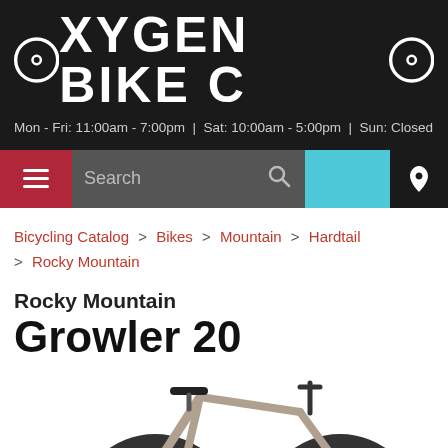[Figure (logo): Oxygen Bike Co logo in white text on black background]
Mon - Fri: 11:00am - 7:00pm | Sat: 10:00am - 5:00pm | Sun: Closed
Search
Bicycling Catalog > Bikes > Mountain > Hardtail > Rocky Mountain
Rocky Mountain Growler 20
[Figure (photo): Rocky Mountain Growler 20 mountain bike, tan/grey frame, fat tires, hardtail, partial view cropped at bottom]